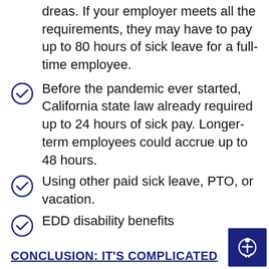dreas. If your employer meets all the requirements, they may have to pay up to 80 hours of sick leave for a full-time employee.
Before the pandemic ever started, California state law already required up to 24 hours of sick pay. Longer-term employees could accrue up to 48 hours.
Using other paid sick leave, PTO, or vacation.
EDD disability benefits
CONCLUSION: IT'S COMPLICATED